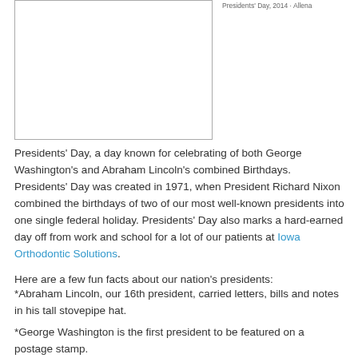[Figure (photo): Image placeholder box (white rectangle with border)]
Presidents' Day, 2014 · Allena
Presidents' Day, a day known for celebrating of both George Washington's and Abraham Lincoln's combined Birthdays. Presidents' Day was created in 1971, when President Richard Nixon combined the birthdays of two of our most well-known presidents into one single federal holiday. Presidents' Day also marks a hard-earned day off from work and school for a lot of our patients at Iowa Orthodontic Solutions.
Here are a few fun facts about our nation's presidents:
*Abraham Lincoln, our 16th president, carried letters, bills and notes in his tall stovepipe hat.
*George Washington is the first president to be featured on a postage stamp.